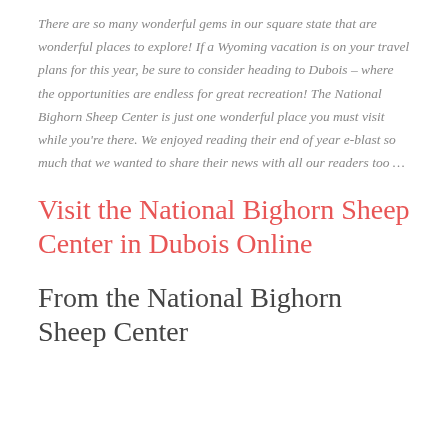There are so many wonderful gems in our square state that are wonderful places to explore! If a Wyoming vacation is on your travel plans for this year, be sure to consider heading to Dubois – where the opportunities are endless for great recreation! The National Bighorn Sheep Center is just one wonderful place you must visit while you're there. We enjoyed reading their end of year e-blast so much that we wanted to share their news with all our readers too …
Visit the National Bighorn Sheep Center in Dubois Online
From the National Bighorn Sheep Center